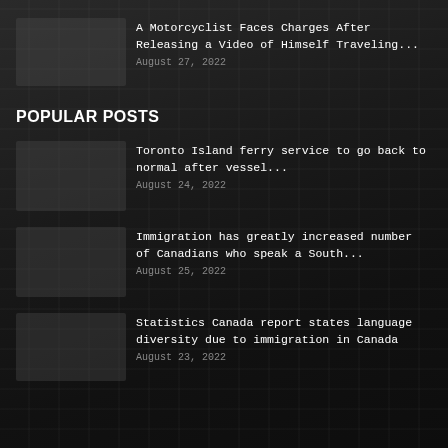A Motorcyclist Faces Charges After Releasing a Video of Himself Traveling...
August 27, 2022
POPULAR POSTS
Toronto Island ferry service to go back to normal after vessel...
August 24, 2022
Immigration has greatly increased number of Canadians who speak a South...
August 25, 2022
Statistics Canada report states language diversity due to immigration in Canada
August 23, 2022